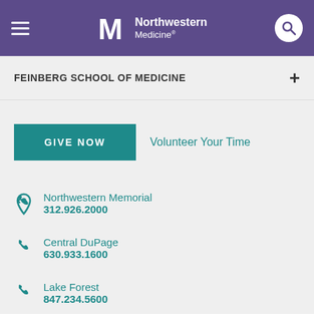Northwestern Medicine
FEINBERG SCHOOL OF MEDICINE
GIVE NOW
Volunteer Your Time
Northwestern Memorial
312.926.2000
Central DuPage
630.933.1600
Lake Forest
847.234.5600